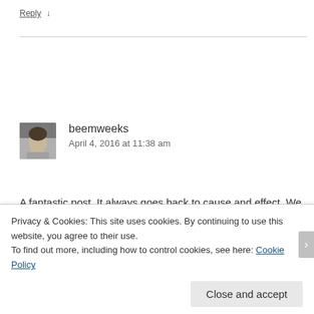Reply ↓
beemweeks
April 4, 2016 at 11:38 am
A fantastic post. It always goes back to cause and effect. We just need to be aware of the causes. Thanks for the insight
Privacy & Cookies: This site uses cookies. By continuing to use this website, you agree to their use.
To find out more, including how to control cookies, see here: Cookie Policy